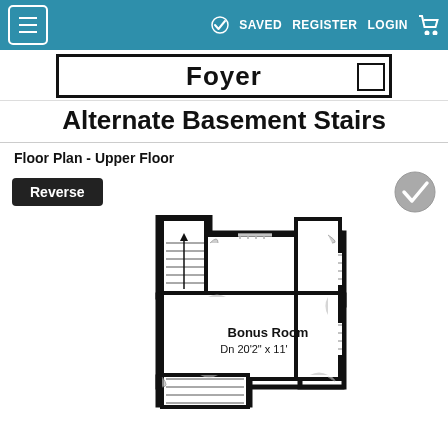≡  SAVED  REGISTER  LOGIN  🛒
[Figure (schematic): Partial floor plan showing Foyer label with door symbol — cropped top of plan]
Alternate Basement Stairs
Floor Plan - Upper Floor
Reverse
[Figure (engineering-diagram): Upper floor plan showing Bonus Room labeled 20'2" x 11' with staircase (Dn) and door swing indicators at corners]